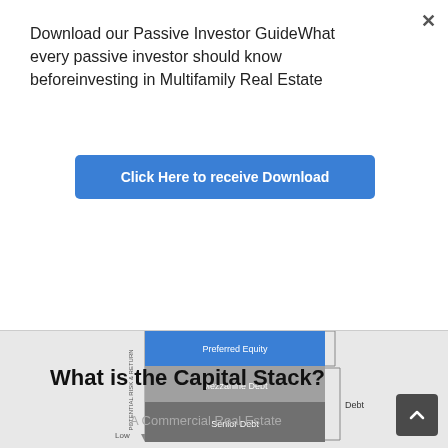Download our Passive Investor GuideWhat every passive investor should know beforeinvesting in Multifamily Real Estate
Click Here to receive Download
[Figure (infographic): Capital stack diagram showing layers: Preferred Equity (blue, top), Mezzanine Debt (medium gray, middle), Senior Debt (dark gray, bottom), with vertical axis labeled 'POTENTIAL RISK & RETURN', 'Low' label at bottom, 'Debt' bracket on right side]
What is the Capital Stack?
A Commercial Real Estate